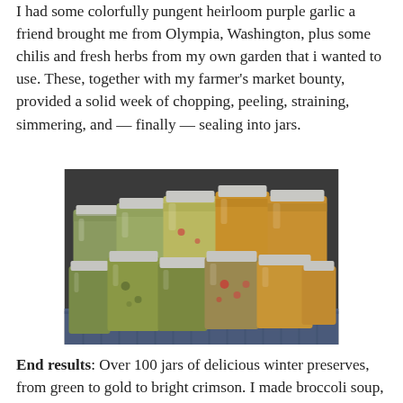I had some colorfully pungent heirloom purple garlic a friend brought me from Olympia, Washington, plus some chilis and fresh herbs from my own garden that i wanted to use. These, together with my farmer's market bounty, provided a solid week of chopping, peeling, straining, simmering, and — finally — sealing into jars.
[Figure (photo): Many mason jars filled with various colorful preserves — green, golden, and reddish — stacked and arranged on a patterned cloth surface.]
End results: Over 100 jars of delicious winter preserves, from green to gold to bright crimson. I made broccoli soup, tomato soup, chunky tomato sauce, golden tomato sauce, corn-zucchini salsa,